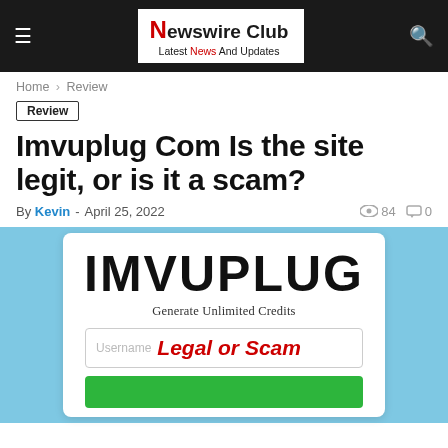Newswire Club — Latest News And Updates
Home › Review
Review
Imvuplug Com Is the site legit, or is it a scam?
By Kevin - April 25, 2022  👁 84  💬 0
[Figure (screenshot): IMVUPLUG website screenshot showing large bold 'IMVUPLUG' text, tagline 'Generate Unlimited Credits', a username input field labeled 'Legal or Scam' in red italic text, and a green button below, all on a white card over a light blue background.]